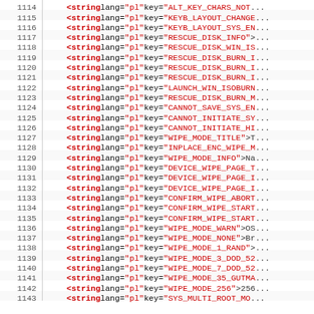Code listing lines 1114-1143 showing XML string elements with lang="pl" attributes and various key values for localization strings
1114  <string lang="pl" key="ALT_KEY_CHARS_NOT...
1115  <string lang="pl" key="KEYB_LAYOUT_CHANGE...
1116  <string lang="pl" key="KEYB_LAYOUT_SYS_EN...
1117  <string lang="pl" key="RESCUE_DISK_INFO">...
1118  <string lang="pl" key="RESCUE_DISK_WIN_IS...
1119  <string lang="pl" key="RESCUE_DISK_BURN_I...
1120  <string lang="pl" key="RESCUE_DISK_BURN_I...
1121  <string lang="pl" key="RESCUE_DISK_BURN_I...
1122  <string lang="pl" key="LAUNCH_WIN_ISOBURN...
1123  <string lang="pl" key="RESCUE_DISK_BURN_M...
1124  <string lang="pl" key="CANNOT_SAVE_SYS_EN...
1125  <string lang="pl" key="CANNOT_INITIATE_SY...
1126  <string lang="pl" key="CANNOT_INITIATE_HI...
1127  <string lang="pl" key="WIPE_MODE_TITLE">T...
1128  <string lang="pl" key="INPLACE_ENC_WIPE_M...
1129  <string lang="pl" key="WIPE_MODE_INFO">Na...
1130  <string lang="pl" key="DEVICE_WIPE_PAGE_T...
1131  <string lang="pl" key="DEVICE_WIPE_PAGE_I...
1132  <string lang="pl" key="DEVICE_WIPE_PAGE_I...
1133  <string lang="pl" key="CONFIRM_WIPE_ABORT...
1134  <string lang="pl" key="CONFIRM_WIPE_START...
1135  <string lang="pl" key="CONFIRM_WIPE_START...
1136  <string lang="pl" key="WIPE_MODE_WARN">OS...
1137  <string lang="pl" key="WIPE_MODE_NONE">Br...
1138  <string lang="pl" key="WIPE_MODE_1_RAND">...
1139  <string lang="pl" key="WIPE_MODE_3_DOD_52...
1140  <string lang="pl" key="WIPE_MODE_7_DOD_52...
1141  <string lang="pl" key="WIPE_MODE_35_GUTMA...
1142  <string lang="pl" key="WIPE_MODE_256">256...
1143  <string lang="pl" key="SYS_MULTI_ROOT_MO...